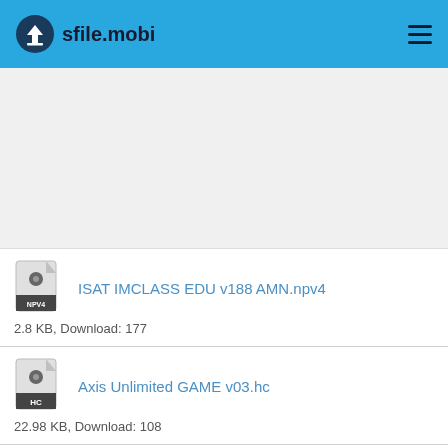sfile.mobi
ISAT IMCLASS EDU v188 AMN.npv4
2.8 KB, Download: 177
Axis Unlimited GAME v03.hc
22.98 KB, Download: 108
NBS REBORN V 9.8 NO PW .apk
9.37 MB, Download: 97